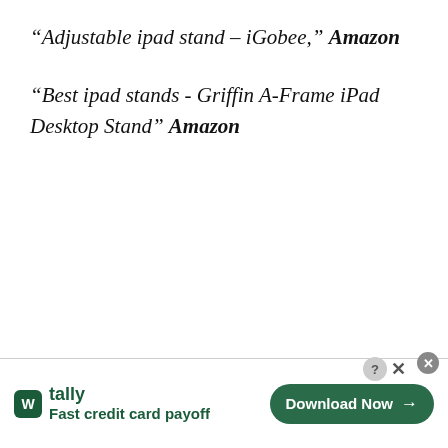“Adjustable ipad stand – iGobee,” Amazon
“Best ipad stands - Griffin A-Frame iPad Desktop Stand” Amazon
[Figure (screenshot): Advertisement banner for Tally app: logo with green square icon, text 'tally Fast credit card payoff', and a dark green 'Download Now' button with arrow]